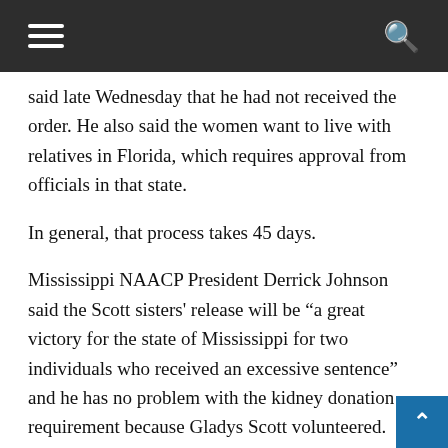☰  🔍
said late Wednesday that he had not received the order. He also said the women want to live with relatives in Florida, which requires approval from officials in that state.
In general, that process takes 45 days.
Mississippi NAACP President Derrick Johnson said the Scott sisters' release will be "a great victory for the state of Mississippi for two individuals who received an excessive sentence" and he has no problem with the kidney donation requirement because Gladys Scott volunteered.
"I think it's encouraging that she's willing to share a kidney so her sister can have a better quality life," Johnson said.
National NAACP President and CEO Benjamin Todd Jealous said the suspension of the sentences represents the good that can